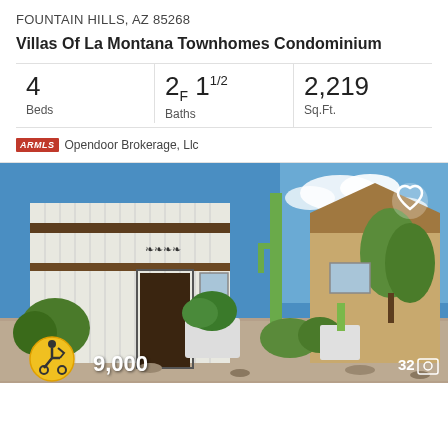FOUNTAIN HILLS, AZ 85268
Villas Of La Montana Townhomes Condominium
| Beds | Baths | Sq.Ft. |
| --- | --- | --- |
| 4 | 2F 1 1/2 | 2,219 |
ARMLS  Opendoor Brokerage, Llc
[Figure (photo): Exterior photo of a townhome with white vertical siding, dark wood door, tall cactus in front, desert landscaping with various plants and rocks, blue sky with clouds. Price badge showing '9,000' partially visible at bottom left, photo count '32' at bottom right, heart/favorite icon at top right, accessibility icon at bottom left.]